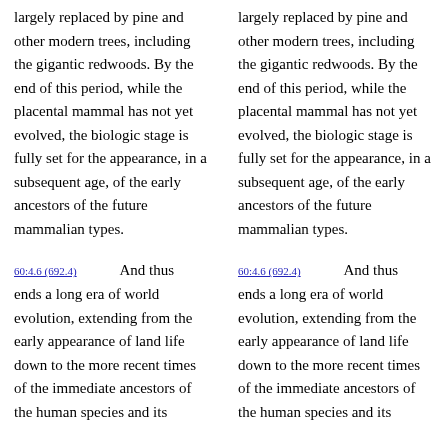largely replaced by pine and other modern trees, including the gigantic redwoods. By the end of this period, while the placental mammal has not yet evolved, the biologic stage is fully set for the appearance, in a subsequent age, of the early ancestors of the future mammalian types.
60:4.6 (692.4) And thus ends a long era of world evolution, extending from the early appearance of land life down to the more recent times of the immediate ancestors of the human species and its
largely replaced by pine and other modern trees, including the gigantic redwoods. By the end of this period, while the placental mammal has not yet evolved, the biologic stage is fully set for the appearance, in a subsequent age, of the early ancestors of the future mammalian types.
60:4.6 (692.4) And thus ends a long era of world evolution, extending from the early appearance of land life down to the more recent times of the immediate ancestors of the human species and its